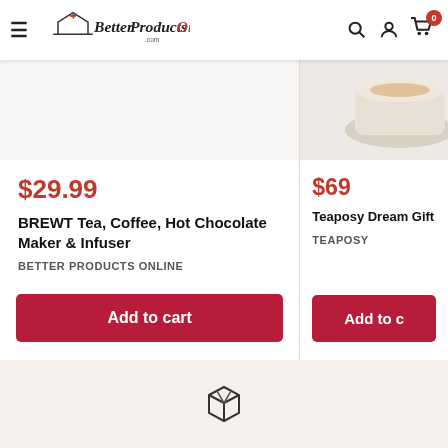BetterProductsOnline.com — navigation header with menu, logo, search, account, and cart icons
$29.99
BREWT Tea, Coffee, Hot Chocolate Maker & Infuser
BETTER PRODUCTS ONLINE
Add to cart
$69
Teaposy Dream Gift S...
TEAPOSY
Add to...
[Figure (illustration): Small package/box icon at the bottom center of the page]